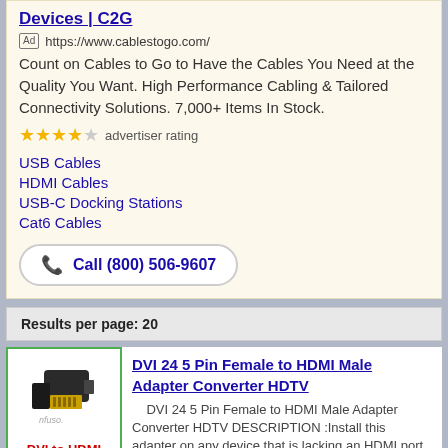[Figure (screenshot): Ad block for C2G cablestogo.com showing title link 'Devices | C2G', Ad label, URL, description text, star rating, product links, and call button]
Results per page: 20
[Figure (photo): Product image of DVI to HDMI adapter converter, black connector, with 'DVI to HDMI' text in red and 'VAKIND' green bar at bottom]
DVI 24 5 Pin Female to HDMI Male Adapter Converter HDTV
DVI 24 5 Pin Female to HDMI Male Adapter Converter HDTV DESCRIPTION :Install this adapter on any device that is lacking an HDMI port but has a DVI-D/DVI 24+5 port. The high-qualit...